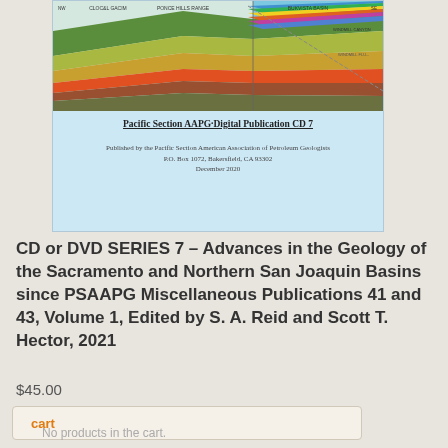[Figure (illustration): Cover image of Pacific Section AAPG Digital Publication CD 7, showing a colorful geological cross-section diagram of basins, with title and publication details on a light blue background.]
CD or DVD SERIES 7 – Advances in the Geology of the Sacramento and Northern San Joaquin Basins since PSAAPG Miscellaneous Publications 41 and 43, Volume 1, Edited by S. A. Reid and Scott T. Hector, 2021
$45.00
cart
No products in the cart.